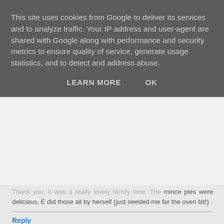This site uses cookies from Google to deliver its services and to analyze traffic. Your IP address and user-agent are shared with Google along with performance and security metrics to ensure quality of service, generate usage statistics, and to detect and address abuse.
LEARN MORE   OK
mince pies were delicious, E did those all by herself (just needed me for the oven bit!)
Reply
mumturnedmom  30 December 2014 at 02:44
Sounds like a wonderful perfectly imperfect Christmas! It's all about being together really, isn't it? #magicmoments
Reply
Replies